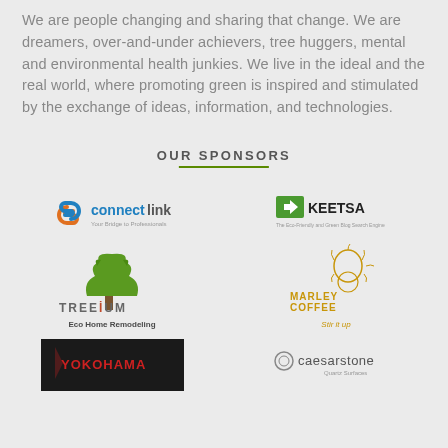We are people changing and sharing that change. We are dreamers, over-and-under achievers, tree huggers, mental and environmental health junkies. We live in the ideal and the real world, where promoting green is inspired and stimulated by the exchange of ideas, information, and technologies.
OUR SPONSORS
[Figure (logo): ConnectLink logo — orange chain-link icon with text 'connectlink' and tagline 'Your Bridge to Professionals']
[Figure (logo): KEETSA logo — green leaf/arrow icon with bold text 'KEETSA' and tagline 'The Eco-Friendly and Green Blog Search Engine']
[Figure (logo): TREEIUM Eco Home Remodeling logo — green tree with leaves icon, text 'TREEIUM' with red dot on i, subtitle 'Eco Home Remodeling']
[Figure (logo): Marley Coffee logo — golden lion illustration with text 'MARLEY COFFEE' and script tagline 'Stir it up']
[Figure (logo): YOKOHAMA logo — dark background with red letters YOKOHAMA]
[Figure (logo): caesarstone Quartz Surfaces logo — circular icon with brand name and subtitle 'Quartz Surfaces']